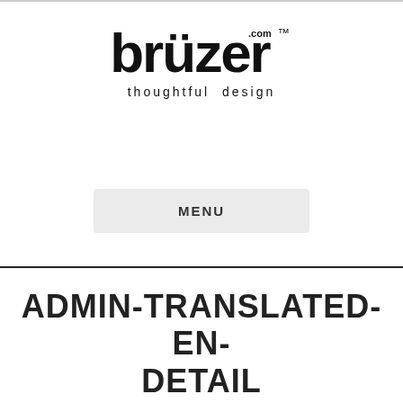[Figure (logo): Brüzer.com logo with tagline 'thoughtful design']
MENU
ADMIN-TRANSLATED-EN-DETAIL